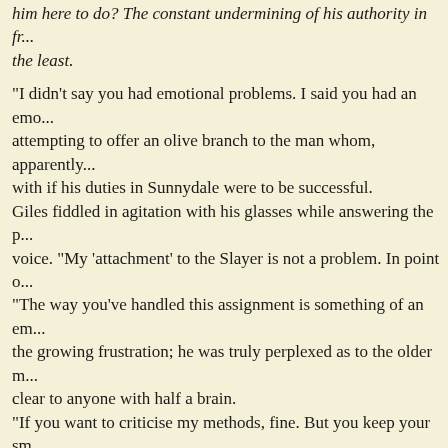him here to do? The constant undermining of his authority in fr... the least.
“I didn't say you had emotional problems. I said you had an emo... attempting to offer an olive branch to the man whom, apparently... with if his duties in Sunnydale were to be successful.
Giles fiddled in agitation with his glasses while answering the p... voice. “My 'attachment' to the Slayer is not a problem. In point o...
“The way you've handled this assignment is something of an em... the growing frustration; he was truly perplexed as to the older m... clear to anyone with half a brain.
“If you want to criticise my methods, fine. But you keep your sm... don't criticise my methods.” Giles placed the glasses once more... self-centred, annoying little git caused him to break them.
Adopting as superior a tone as possible, Wesley continued his ex... enough he could finally make Giles understand what he had bee... you're no longer qualified to act as Watcher.” He allowed himsel... wear off some of the frustration that was trying to break through... your fault. You've done well. It is simply time for somebody else...
Giles looked at the younger watcher, then shifted his gaze to pee... “No clever retirements, then”...